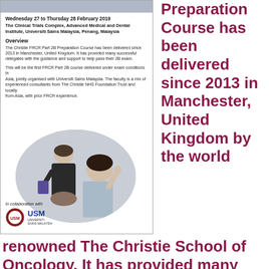Wednesday 27 to Thursday 28 February 2019
The Clinical Trials Complex, Advanced Medical and Dental Institute, Universiti Sains Malaysia, Penang, Malaysia
Overview
The Christie FRCR Part 2B Preparation Course has been delivered since 2013 in Manchester, United Kingdom. It has provided many successful delegates with the guidance and support to help pass their 2B exam.
This will be the first FRCR Part 2B course delivered under exam conditions in Asia, jointly organised with Universiti Sains Malaysia. The faculty is a mix of experienced consultants from The Christie NHS Foundation Trust and locally from Asia, with prior FRCR experience.
[Figure (photo): Two women in a classroom/lecture setting, one holding a book and one with her hand raised]
In collaboration with
[Figure (logo): USM Universiti Sains Malaysia logo]
Preparation Course has been delivered since 2013 in Manchester, United Kingdom by the world renowned The Christie School of Oncology. It has provided many successful delegates with the guidance